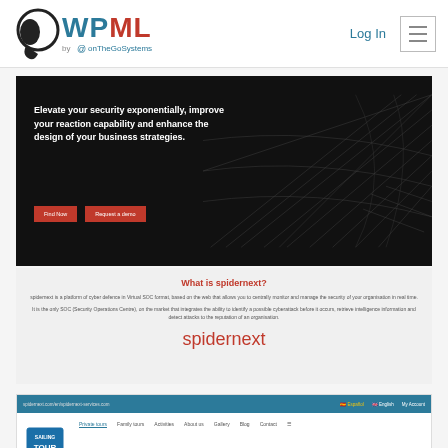WPML by onTheGoSystems — Log In
[Figure (screenshot): spidernext website hero section with dark background, spider web lines, headline text about elevating security, and two red CTA buttons]
What is spidernext?
spidernext is a platform of cyber defence in Virtual SOC format, based on the web that allows you to centrally monitor and manage the security of your organisation in real time.
It is the only SOC (Security Operations Centre), on the market that integrates the ability to identify a possible cyberattack before it occurs, retrieve intelligence information and detect attacks to the reputation of an organisation.
spidernext
[Figure (screenshot): Sailing Tour BCN website screenshot showing navigation bar with language flags and site menu]